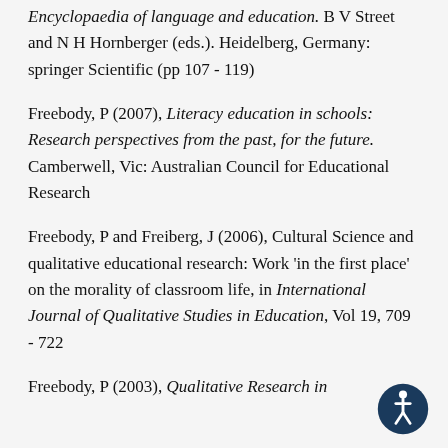Encyclopaedia of language and education. B V Street and N H Hornberger (eds.). Heidelberg, Germany: springer Scientific (pp 107 - 119)
Freebody, P (2007), Literacy education in schools: Research perspectives from the past, for the future. Camberwell, Vic: Australian Council for Educational Research
Freebody, P and Freiberg, J (2006), Cultural Science and qualitative educational research: Work 'in the first place' on the morality of classroom life, in International Journal of Qualitative Studies in Education, Vol 19, 709 - 722
Freebody, P (2003), Qualitative Research in